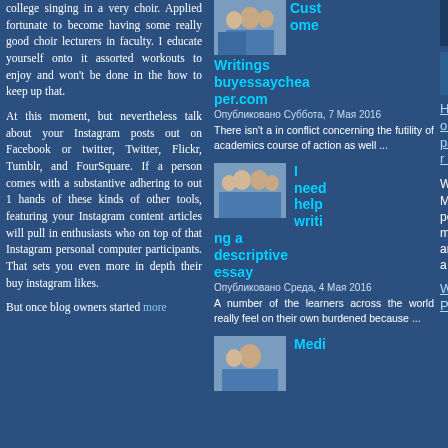college singing in a very choir. Applied fortunate to become having some really good choir lecturers in faculty. I educate yourself onto it assorted workouts to enjoy and won't be done in the how to keep up that.
At this moment, but nevertheless talk about your Instagram posts out on Facebook or twitter, Twitter, Flickr, Tumblr, and FourSquare. If a person comes with a substantive adhering to out 1 hands of these kinds of other tools, featuring your Instagram content articles will pull in enthusiasts who on top of that Instagram personal computer participants. That sets you even more in depth their buy instagram likes.
But once blog owners started more
[Figure (photo): Thumbnail photo of people for article about Custom Writings buyessaycheaper.com]
Custom Writings buyessaycheaper.com
Опубликовано Суббота, 7 Мая 2016
There isn't a in conflict concerning the futility of academics course of action as well ...
[Figure (photo): Thumbnail photo of people for article about I need help writing a descriptive essay]
I need help writing a descriptive essay
Опубликовано Среда, 4 Мая 2016
A number of the learners across the world really feel on their own burdened because ...
[Figure (photo): Thumbnail photo for Medi article]
Medi
Водопровод (69)
Информация
How to write an outline for term paper WriteMyPaper io
Will Pay You To Write My Paper You may perhaps generally marvel, 'I want another person create a paper for me. [...]
Where Edit My Paper